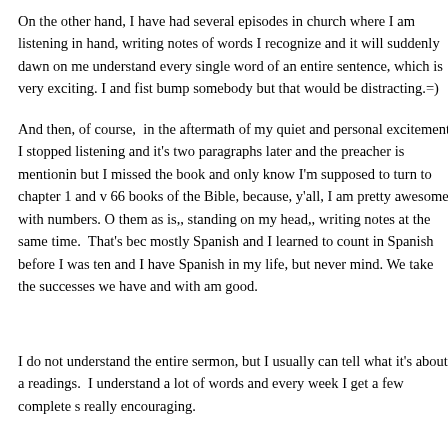On the other hand, I have had several episodes in church where I am listening in hand, writing notes of words I recognize and it will suddenly dawn on me understand every single word of an entire sentence, which is very exciting. I and fist bump somebody but that would be distracting.=)
And then, of course,  in the aftermath of my quiet and personal excitement I stopped listening and it's two paragraphs later and the preacher is mentioning but I missed the book and only know I'm supposed to turn to chapter 1 and v 66 books of the Bible, because, y'all, I am pretty awesome with numbers. O them as is,, standing on my head,, writing notes at the same time.  That's bec mostly Spanish and I learned to count in Spanish before I was ten and I have Spanish in my life, but never mind. We take the successes we have and with am good.
I do not understand the entire sermon, but I usually can tell what it's about a readings.  I understand a lot of words and every week I get a few complete s really encouraging.